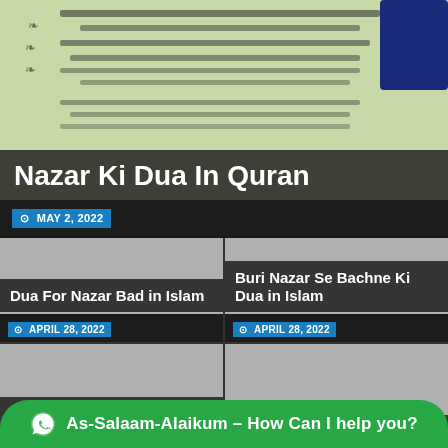[Figure (photo): Quran page with Arabic text, greenish background, dark blue phone partially visible]
Nazar Ki Dua In Quran
MAY 2, 2022
[Figure (photo): Gray placeholder image for Dua For Nazar Bad in Islam article]
Dua For Nazar Bad in Islam
APRIL 28, 2022
[Figure (photo): Gray placeholder image for Buri Nazar Se Bachne Ki Dua in Islam article]
Buri Nazar Se Bachne Ki Dua in Islam
APRIL 28, 2022
[Figure (photo): Gray placeholder image for Hasbunallah Wanikmal Wakil Dua and Wazifa article]
Hasbunallah Wanikmal Wakil Dua and Wazifa
[Figure (photo): Gray placeholder image for Dua To Make Someone article]
Dua To Make Someone
As-Salaam-Alaikum – How Can I help you?